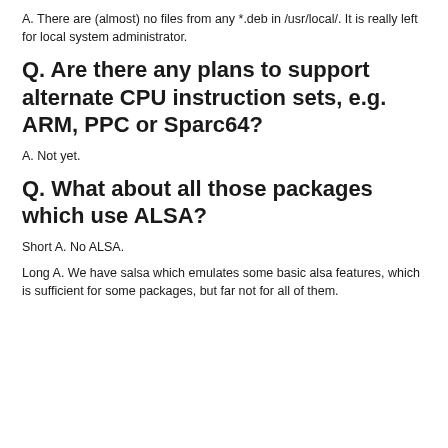A. There are (almost) no files from any *.deb in /usr/local/. It is really left for local system administrator.
Q. Are there any plans to support alternate CPU instruction sets, e.g. ARM, PPC or Sparc64?
A. Not yet.
Q. What about all those packages which use ALSA?
Short A. No ALSA.
Long A. We have salsa which emulates some basic alsa features, which is sufficient for some packages, but far not for all of them.